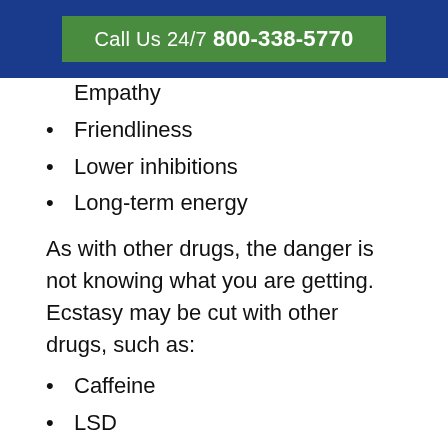Call Us 24/7 800-338-5770
Empathy
Friendliness
Lower inhibitions
Long-term energy
As with other drugs, the danger is not knowing what you are getting. Ecstasy may be cut with other drugs, such as:
Caffeine
LSD
Amphetamine
Cocaine
Heroin
Rat poison
To add in more detailed MDMA and how drugs interact